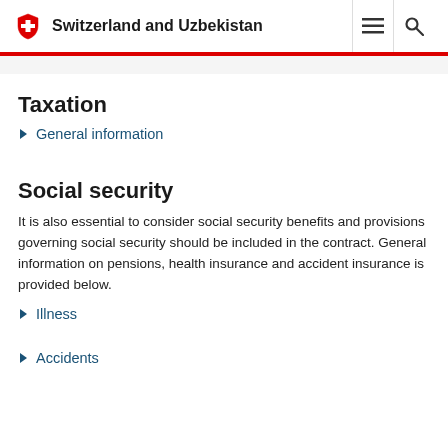Switzerland and Uzbekistan
Taxation
General information
Social security
It is also essential to consider social security benefits and provisions governing social security should be included in the contract. General information on pensions, health insurance and accident insurance is provided below.
Illness
Accidents